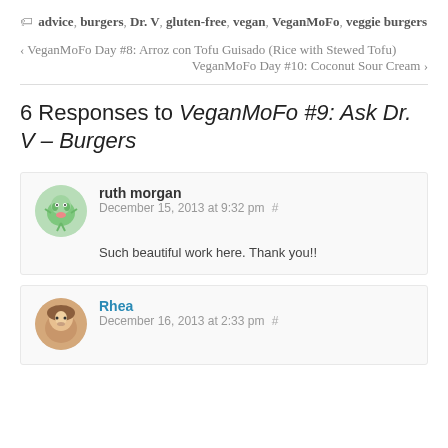advice, burgers, Dr. V, gluten-free, vegan, VeganMoFo, veggie burgers
< VeganMoFo Day #8: Arroz con Tofu Guisado (Rice with Stewed Tofu)
VeganMoFo Day #10: Coconut Sour Cream >
6 Responses to VeganMoFo #9: Ask Dr. V – Burgers
ruth morgan  December 15, 2013 at 9:32 pm #
Such beautiful work here. Thank you!!
Rhea  December 16, 2013 at 2:33 pm #